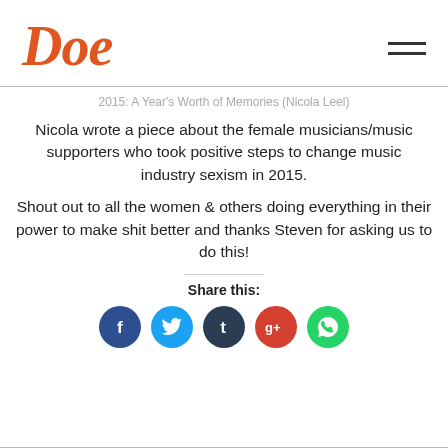Doe
2015: A Year's Worth of Memories (Nicola Leel)
Nicola wrote a piece about the female musicians/music supporters who took positive steps to change music industry sexism in 2015.
Shout out to all the women & others doing everything in their power to make shit better and thanks Steven for asking us to do this!
Share this:
[Figure (infographic): Social media share buttons: Facebook (dark blue), Twitter (light blue), Tumblr (dark navy), Google+ (red-orange), WhatsApp (green)]